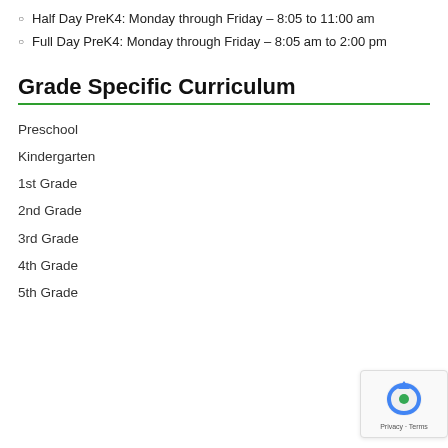Half Day PreK4: Monday through Friday – 8:05 to 11:00 am
Full Day PreK4: Monday through Friday – 8:05 am to 2:00 pm
Grade Specific Curriculum
Preschool
Kindergarten
1st Grade
2nd Grade
3rd Grade
4th Grade
5th Grade